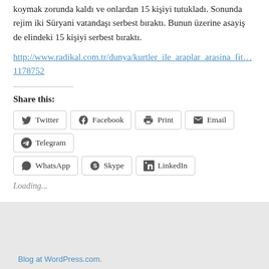koymak zorunda kaldı ve onlardan 15 kişiyi tutukladı. Sonunda rejim iki Süryani vatandaşı serbest bıraktı. Bunun üzerine asayiş de elindeki 15 kişiyi serbest bıraktı.
http://www.radikal.com.tr/dunya/kurtler_ile_araplar_arasina_fit… 1178752
Share this:
Twitter Facebook Print Email Telegram WhatsApp Skype LinkedIn
Loading...
Blog at WordPress.com.